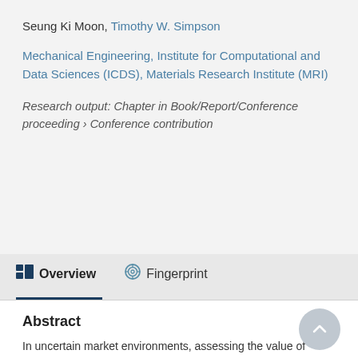Seung Ki Moon, Timothy W. Simpson
Mechanical Engineering, Institute for Computational and Data Sciences (ICDS), Materials Research Institute (MRI)
Research output: Chapter in Book/Report/Conference proceeding › Conference contribution
Overview   Fingerprint
Abstract
In uncertain market environments, assessing the value of